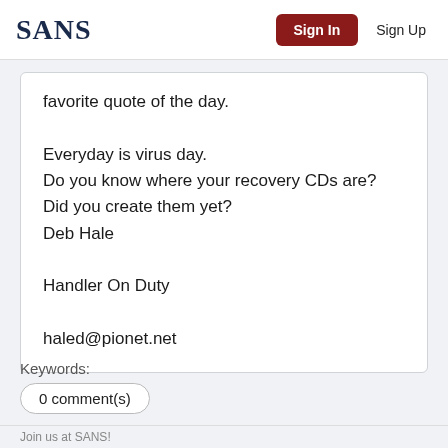SANS | Sign In | Sign Up
favorite quote of the day.

Everyday is virus day.
Do you know where your recovery CDs are?
Did you create them yet?
Deb Hale

Handler On Duty

haled@pionet.net
Keywords:
0 comment(s)
Join us at SANS!